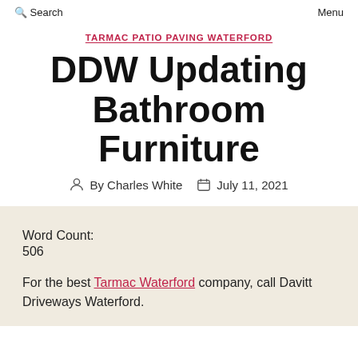Search   Menu
TARMAC PATIO PAVING WATERFORD
DDW Updating Bathroom Furniture
By Charles White   July 11, 2021
Word Count:
506
For the best Tarmac Waterford company, call Davitt Driveways Waterford.